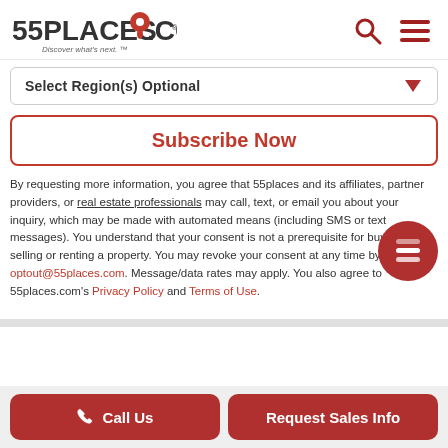55PLACES.COM Discover what's next.
Select Region(s) Optional
Subscribe Now
By requesting more information, you agree that 55places and its affiliates, partner providers, or real estate professionals may call, text, or email you about your inquiry, which may be made with automated means (including SMS or text messages). You understand that your consent is not a prerequisite for buying, selling or renting a property. You may revoke your consent at any time by contacting optout@55places.com. Message/data rates may apply. You also agree to 55places.com's Privacy Policy and Terms of Use.
Call Us
Request Sales Info